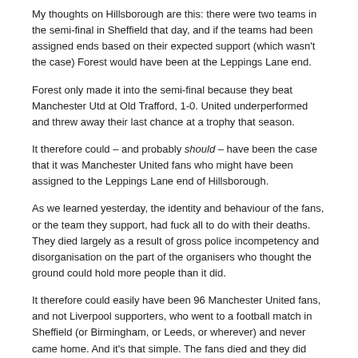My thoughts on Hillsborough are this: there were two teams in the semi-final in Sheffield that day, and if the teams had been assigned ends based on their expected support (which wasn't the case) Forest would have been at the Leppings Lane end.
Forest only made it into the semi-final because they beat Manchester Utd at Old Trafford, 1-0. United underperformed and threw away their last chance at a trophy that season.
It therefore could – and probably should – have been the case that it was Manchester United fans who might have been assigned to the Leppings Lane end of Hillsborough.
As we learned yesterday, the identity and behaviour of the fans, or the team they support, had fuck all to do with their deaths. They died largely as a result of gross police incompetency and disorganisation on the part of the organisers who thought the ground could hold more people than it did.
It therefore could easily have been 96 Manchester United fans, and not Liverpool supporters, who went to a football match in Sheffield (or Birmingham, or Leeds, or wherever) and never came home. And it's that simple. The fans died and they did nothing to cause it themselves.
Imagine you're in a car on a quiet road, approaching a junction, and as you get near to the junction a truck comes full-speed across the road and obliterates the car directly in front of you, killing everyone inside it. Ending their lives and ruining the lives of their families and friends.
If you were in the car behind, and had come so close to being killed, you